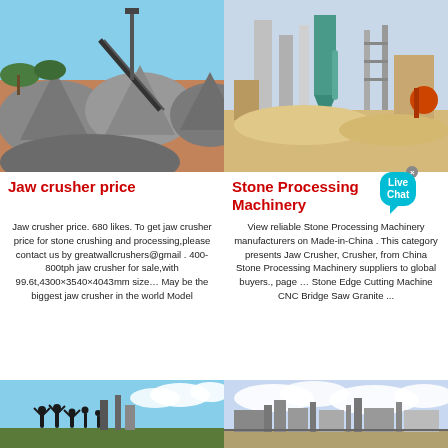[Figure (photo): Left top photo: stone crushing plant with conveyor belts and gravel piles on reddish earth]
[Figure (photo): Right top photo: stone processing machinery facility with silos, pipes and industrial equipment]
Jaw crusher price
Stone Processing Machinery
Jaw crusher price. 680 likes. To get jaw crusher price for stone crushing and processing,please contact us by greatwallcrushers@gmail . 400-800tph jaw crusher for sale,with 99.6t,4300×3540×4043mm size… May be the biggest jaw crusher in the world Model
View reliable Stone Processing Machinery manufacturers on Made-in-China . This category presents Jaw Crusher, Crusher, from China Stone Processing Machinery suppliers to global buyers., page … Stone Edge Cutting Machine CNC Bridge Saw Granite ...
[Figure (photo): Bottom left photo: group of people at construction/mining site with blue sky]
[Figure (photo): Bottom right photo: industrial plant or crusher facility with cloudy sky]